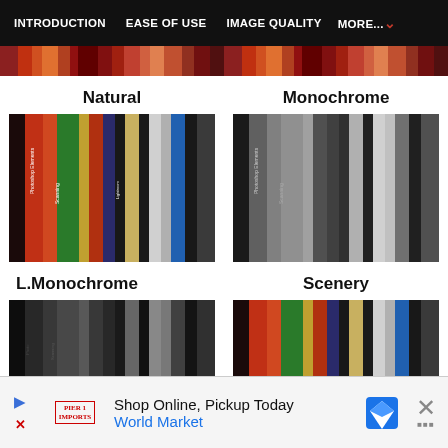INTRODUCTION  EASE OF USE  IMAGE QUALITY  MORE...
[Figure (photo): Top strip of colorful book spines on a shelf (left half)]
[Figure (photo): Top strip of colorful book spines on a shelf (right half)]
Natural
[Figure (photo): Color photograph of photography book spines on a shelf including Photoshop Elements]
Monochrome
[Figure (photo): Black and white photograph of photography book spines on a shelf]
L.Monochrome
[Figure (photo): Partial black and white low-key photograph of book spines]
Scenery
[Figure (photo): Partial color photograph of book spines on a shelf]
Shop Online, Pickup Today
World Market